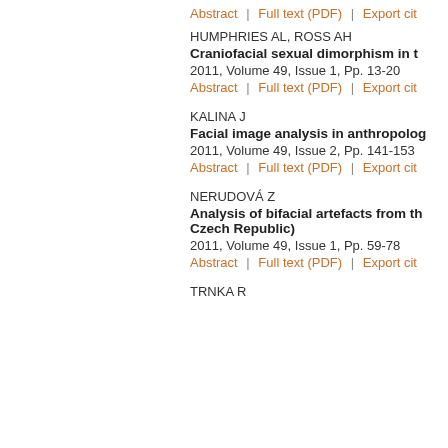Abstract | Full text (PDF) | Export cit
HUMPHRIES AL, ROSS AH
Craniofacial sexual dimorphism in t
2011, Volume 49, Issue 1, Pp. 13-20
Abstract | Full text (PDF) | Export cit
KALINA J
Facial image analysis in anthropolog
2011, Volume 49, Issue 2, Pp. 141-153
Abstract | Full text (PDF) | Export cit
NERUDOVÁ Z
Analysis of bifacial artefacts from th Czech Republic)
2011, Volume 49, Issue 1, Pp. 59-78
Abstract | Full text (PDF) | Export cit
TRNKA R